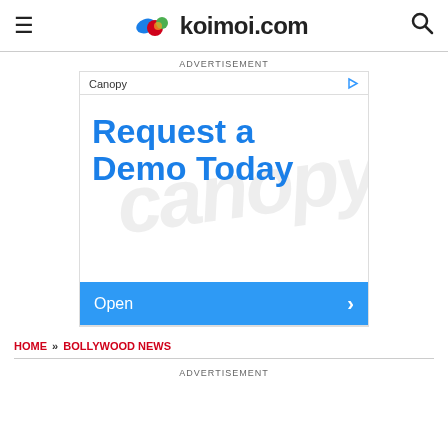koimoi.com
ADVERTISEMENT
[Figure (screenshot): Canopy advertisement banner reading 'Request a Demo Today' with blue text on white background, an 'Open >' blue button bar at the bottom, and a play/arrow icon in top right.]
HOME » BOLLYWOOD NEWS
ADVERTISEMENT